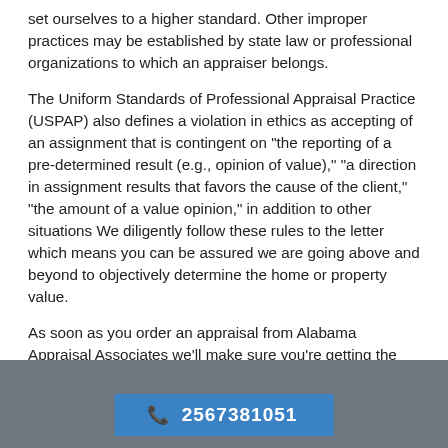set ourselves to a higher standard. Other improper practices may be established by state law or professional organizations to which an appraiser belongs.
The Uniform Standards of Professional Appraisal Practice (USPAP) also defines a violation in ethics as accepting of an assignment that is contingent on "the reporting of a pre-determined result (e.g., opinion of value)," "a direction in assignment results that favors the cause of the client," "the amount of a value opinion," in addition to other situations We diligently follow these rules to the letter which means you can be assured we are going above and beyond to objectively determine the home or property value.
As soon as you order an appraisal from Alabama Appraisal Associates we'll make sure you're getting the professional service you expect along with the an ethical approach with appraisals that we're known for.
2567381051